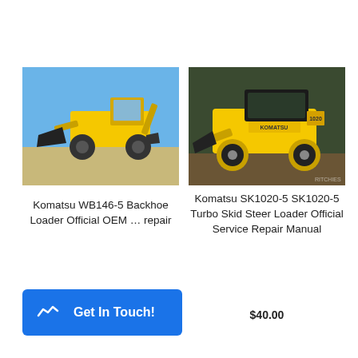[Figure (photo): Yellow Komatsu WB146-5 backhoe loader on a sandy construction site under a blue sky]
[Figure (photo): Yellow Komatsu SK1020-5 skid steer loader parked in a wooded area, with KOMATSU branding visible]
Komatsu WB146-5 Backhoe Loader Official OEM … repair
Komatsu SK1020-5 SK1020-5 Turbo Skid Steer Loader Official Service Repair Manual
$40.00